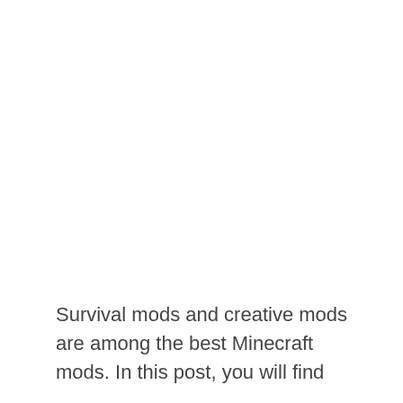Survival mods and creative mods are among the best Minecraft mods. In this post, you will find